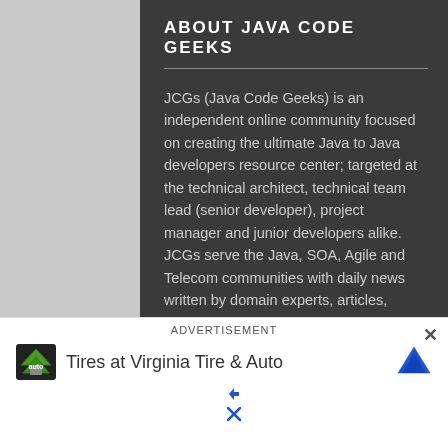ABOUT JAVA CODE GEEKS
JCGs (Java Code Geeks) is an independent online community focused on creating the ultimate Java to Java developers resource center; targeted at the technical architect, technical team lead (senior developer), project manager and junior developers alike. JCGs serve the Java, SOA, Agile and Telecom communities with daily news written by domain experts, articles, tutorials, reviews, announcements, code snippets and open source projects.
DISCLAIMER
All trademarks and registered trademarks appearing on Java Code Geeks are the property of their respective owners. Java is a trademark or registered trademark of Oracle Corporation in the United States and other countries. Examples Java Code Geeks is not connected to Oracle
[Figure (screenshot): Advertisement bar showing 'Tires at Virginia Tire & Auto' with logo and close button]